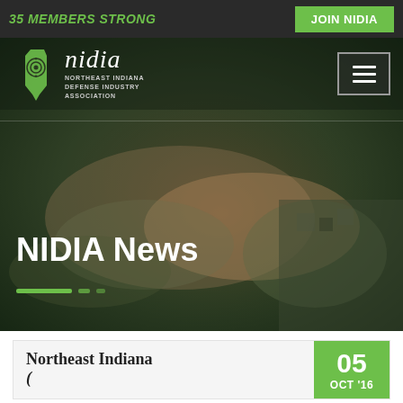35 MEMBERS STRONG
[Figure (screenshot): NIDIA website hero section with logo, hamburger menu, hands joined together background image, NIDIA News title, and slider navigation dots]
NIDIA News
Northeast Indiana
05 OCT '16